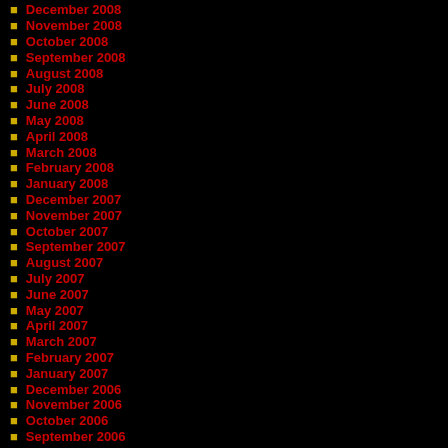December 2008
November 2008
October 2008
September 2008
August 2008
July 2008
June 2008
May 2008
April 2008
March 2008
February 2008
January 2008
December 2007
November 2007
October 2007
September 2007
August 2007
July 2007
June 2007
May 2007
April 2007
March 2007
February 2007
January 2007
December 2006
November 2006
October 2006
September 2006